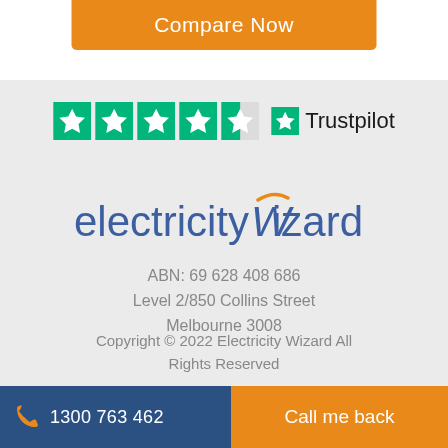Compare Now
[Figure (logo): Trustpilot rating showing 4.5 stars out of 5 with Trustpilot logo]
[Figure (logo): Electricity Wizard company logo in blue with orange accent W stroke]
ABN: 69 628 408 686
Level 2/850 Collins Street
Melbourne 3008
Copyright © 2022 Electricity Wizard All Rights Reserved
[Figure (logo): Partially visible circular badge/seal at bottom of gray section]
1300 763 462    Call me back